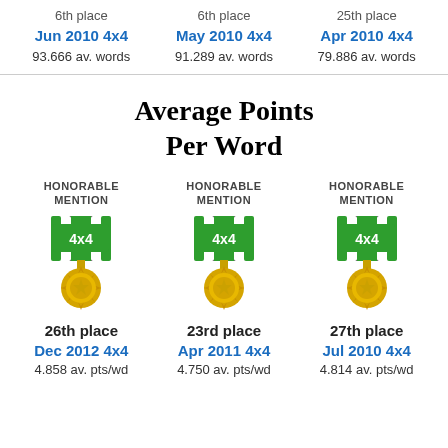6th place
Jun 2010 4x4
93.666 av. words
6th place
May 2010 4x4
91.289 av. words
25th place
Apr 2010 4x4
79.886 av. words
Average Points Per Word
HONORABLE MENTION
[Figure (illustration): 4x4 honorable mention medal badge with green and white striped ribbon and gold starburst medallion]
26th place
Dec 2012 4x4
4.858 av. pts/wd
HONORABLE MENTION
[Figure (illustration): 4x4 honorable mention medal badge with green and white striped ribbon and gold starburst medallion]
23rd place
Apr 2011 4x4
4.750 av. pts/wd
HONORABLE MENTION
[Figure (illustration): 4x4 honorable mention medal badge with green and white striped ribbon and gold starburst medallion]
27th place
Jul 2010 4x4
4.814 av. pts/wd